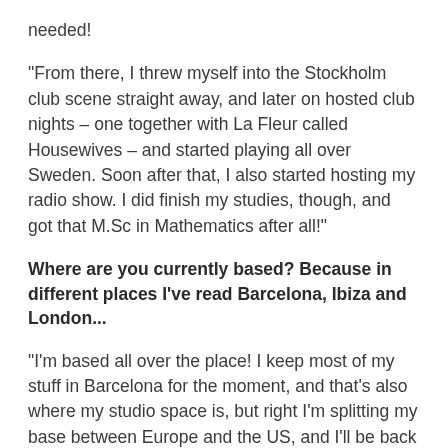needed!
"From there, I threw myself into the Stockholm club scene straight away, and later on hosted club nights – one together with La Fleur called Housewives – and started playing all over Sweden. Soon after that, I also started hosting my radio show. I did finish my studies, though, and got that M.Sc in Mathematics after all!"
Where are you currently based? Because in different places I've read Barcelona, Ibiza and London...
"I'm based all over the place! I keep most of my stuff in Barcelona for the moment, and that's also where my studio space is, but right I'm splitting my base between Europe and the US, and I'll be back in Miami after the summer. I love to be inspired by different cultures, and as I'm playing more in North and South America, I like to spend time this side of the